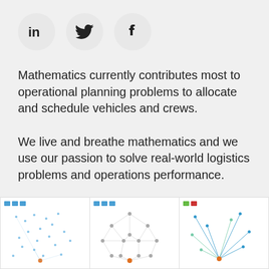[Figure (illustration): Three social media icon circles: LinkedIn (in), Twitter (bird), Facebook (f)]
Mathematics currently contributes most to operational planning problems to allocate and schedule vehicles and crews.
We live and breathe mathematics and we use our passion to solve real-world logistics problems and operations performance.
[Figure (network-graph): Three network graph panels showing logistics/routing network diagrams with nodes and edges. First panel shows scattered point cloud, second shows dense interconnected network, third shows route/path network with colored legend indicators.]